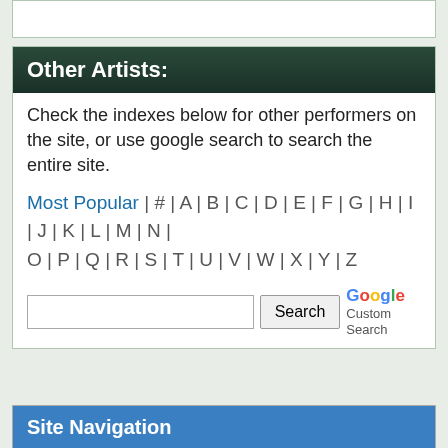Other Artists:
Check the indexes below for other performers on the site, or use google search to search the entire site.
Most Popular | # | A | B | C | D | E | F | G | H | I | J | K | L | M | N | O | P | Q | R | S | T | U | V | W | X | Y | Z
Site Navigation
+ Misheard Lyrics
+ Music Parody
+ Music Trivia
+ Real Lyrics
+ Band Name Wordplay